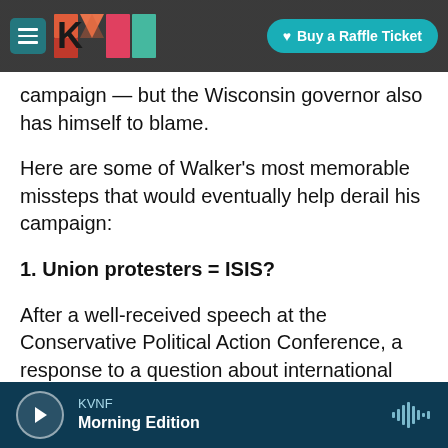[Figure (screenshot): KVNF website navigation bar with hamburger menu, KVNF logo, and 'Buy a Raffle Ticket' button on a dark rocky background]
campaign — but the Wisconsin governor also has himself to blame.
Here are some of Walker's most memorable missteps that would eventually help derail his campaign:
1. Union protesters = ISIS?
After a well-received speech at the Conservative Political Action Conference, a response to a question about international preparedness and terrorism instead made all the wrong kind of headlines. "If I can take on 100,000 protesters, I can
[Figure (screenshot): KVNF audio player bar showing play button, KVNF station name, Morning Edition show name, and waveform icon]